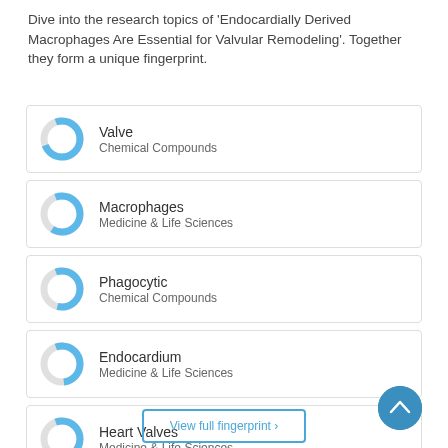Dive into the research topics of 'Endocardially Derived Macrophages Are Essential for Valvular Remodeling'. Together they form a unique fingerprint.
[Figure (donut-chart): Donut chart for Valve - Chemical Compounds, approximately 75% filled in blue]
Valve
Chemical Compounds
[Figure (donut-chart): Donut chart for Macrophages - Medicine & Life Sciences, approximately 65% filled in blue]
Macrophages
Medicine & Life Sciences
[Figure (donut-chart): Donut chart for Phagocytic - Chemical Compounds, approximately 60% filled in blue]
Phagocytic
Chemical Compounds
[Figure (donut-chart): Donut chart for Endocardium - Medicine & Life Sciences, approximately 55% filled in blue]
Endocardium
Medicine & Life Sciences
[Figure (donut-chart): Donut chart for Heart Valves - Medicine & Life Sciences, approximately 50% filled in blue]
Heart Valves
Medicine & Life Sciences
View full fingerprint ›